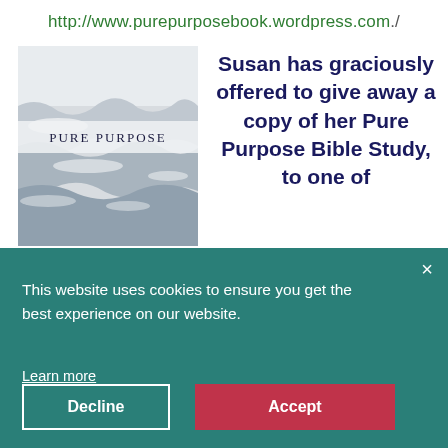http://www.purepurposebook.wordpress.com./
[Figure (photo): Book cover for 'Pure Purpose' showing white water rapids/ocean waves, with title text 'PURE PURPOSE' in the middle]
Susan has graciously offered to give away a copy of her Pure Purpose Bible Study, to one of
e her you ost. y. the
[Figure (screenshot): Cookie consent overlay banner with teal/dark green background. Contains close button (×), message 'This website uses cookies to ensure you get the best experience on our website.', 'Learn more' link, and two buttons: 'Decline' and 'Accept' (red).]